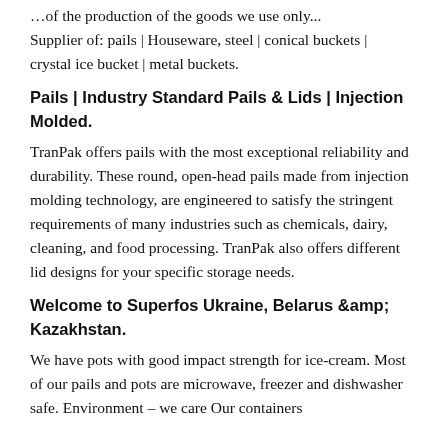…Supplier of: pails | Houseware, steel | conical buckets | crystal ice bucket | metal buckets.
Pails | Industry Standard Pails & Lids | Injection Molded.
TranPak offers pails with the most exceptional reliability and durability. These round, open-head pails made from injection molding technology, are engineered to satisfy the stringent requirements of many industries such as chemicals, dairy, cleaning, and food processing. TranPak also offers different lid designs for your specific storage needs.
Welcome to Superfos Ukraine, Belarus &amp; Kazakhstan.
We have pots with good impact strength for ice-cream. Most of our pails and pots are microwave, freezer and dishwasher safe. Environment – we care Our containers